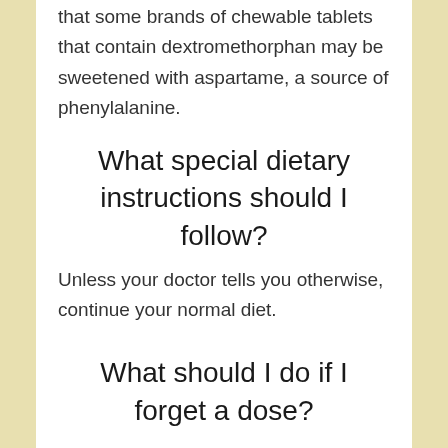that some brands of chewable tablets that contain dextromethorphan may be sweetened with aspartame, a source of phenylalanine.
What special dietary instructions should I follow?
Unless your doctor tells you otherwise, continue your normal diet.
What should I do if I forget a dose?